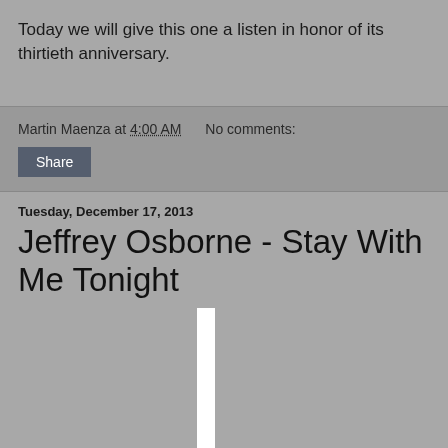Today we will give this one a listen in honor of its thirtieth anniversary.
Martin Maenza at 4:00 AM   No comments:
Share
Tuesday, December 17, 2013
Jeffrey Osborne - Stay With Me Tonight
[Figure (photo): Partially visible thumbnail image with a white vertical bar in the center, on a grey background]